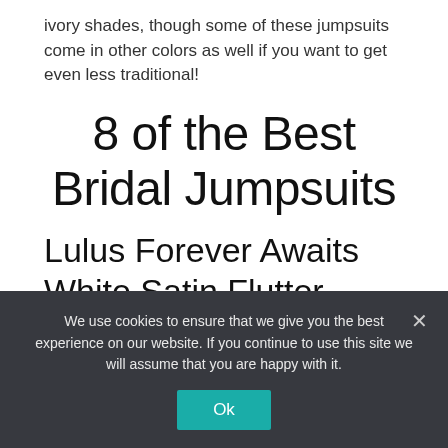ivory shades, though some of these jumpsuits come in other colors as well if you want to get even less traditional!
8 of the Best Bridal Jumpsuits
Lulus Forever Awaits White Satin Flutter Sleeve Jumpsuit
Best for a Chic City Wedding
We use cookies to ensure that we give you the best experience on our website. If you continue to use this site we will assume that you are happy with it.